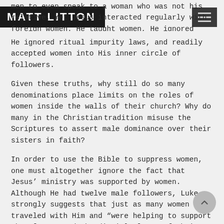MATT LITTON
men to even speak to a woman who was not his relative. Yet Jesus interacted regularly with foreign women. He taught women, He ignored ritual impurity laws, and readily accepted women into His inner circle of followers.
Given these truths, why still do so many denominations place limits on the roles of women inside the walls of their church? Why do many in the Christian tradition misuse the Scriptures to assert male dominance over their sisters in faith?
In order to use the Bible to suppress women, one must altogether ignore the fact that Jesus' ministry was supported by women. Although He had twelve male followers, Luke strongly suggests that just as many women traveled with Him and “were helping to support them [Jesus and the disciples] out of their own means” (Luke